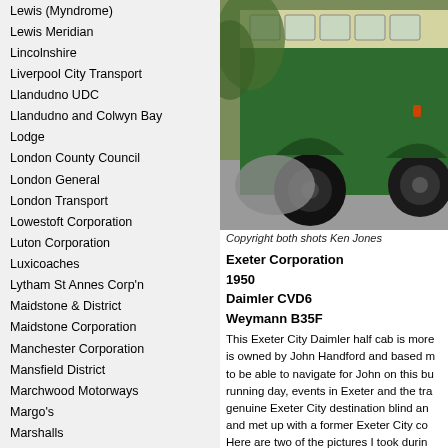Lewis (Myndrome)
Lewis Meridian
Lincolnshire
Liverpool City Transport
Llandudno UDC
Llandudno and Colwyn Bay
Lodge
London County Council
London General
London Transport
Lowestoft Corporation
Luton Corporation
Luxicoaches
Lytham St Annes Corp'n
Maidstone & District
Maidstone Corporation
Manchester Corporation
Mansfield District
Marchwood Motorways
Margo's
Marshalls
McLeod (Helmsdale)
Meffan of Kerriemuir
Merthyr Tydfil Corporation
Mexborough & Swinton
Mid-Wales Motorways
Middlesbrough Corporation
Midland General
Midland Red
Montagu Museum
Moor Dale
[Figure (photo): A green and cream double-decker or single-decker bus on a road, showing rear/side view with large wheels and bodywork.]
Copyright both shots Ken Jones
Exeter Corporation
1950
Daimler CVD6
Weymann B35F
This Exeter City Daimler half cab is more is owned by John Handford and based m to be able to navigate for John on this bu running day, events in Exeter and the tra genuine Exeter City destination blind an and met up with a former Exeter City co the routes and stops.
Here are two of the pictures I took durin